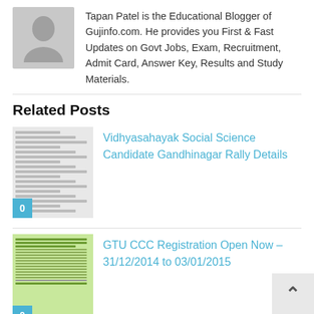Tapan Patel is the Educational Blogger of Gujinfo.com. He provides you First & Fast Updates on Govt Jobs, Exam, Recruitment, Admit Card, Answer Key, Results and Study Materials.
Related Posts
[Figure (screenshot): Thumbnail image of a document listing Vidhyasahayak Social Science Candidate Gandhinagar Rally Details with a blue badge showing '0']
Vidhyasahayak Social Science Candidate Gandhinagar Rally Details
[Figure (screenshot): Thumbnail image of a document for GTU CCC Registration with green background and a blue badge showing '0']
GTU CCC Registration Open Now – 31/12/2014 to 03/01/2015